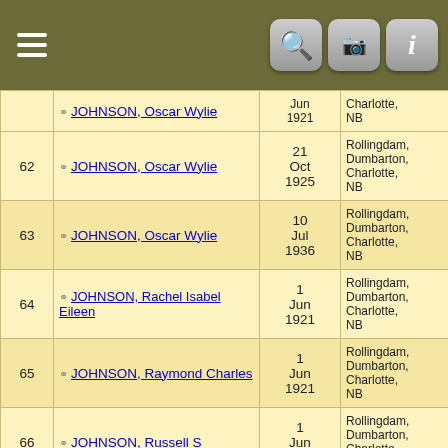| # | Name | Date | Place | ID |
| --- | --- | --- | --- | --- |
|  | JOHNSON, Oscar Wylie [partial, top cut] | Jun 1921 | Charlotte, NB | I4? |
| 62 | JOHNSON, Oscar Wylie | 21 Oct 1925 | Rollingdam, Dumbarton, Charlotte, NB | I14 |
| 63 | JOHNSON, Oscar Wylie | 10 Jul 1936 | Rollingdam, Dumbarton, Charlotte, NB | I14 |
| 64 | JOHNSON, Rachel Isabel Eileen | 1 Jun 1921 | Rollingdam, Dumbarton, Charlotte, NB | I144 |
| 65 | JOHNSON, Raymond Charles | 1 Jun 1921 | Rollingdam, Dumbarton, Charlotte, NB | I8444 |
| 66 | JOHNSON, Russell S | 1 Jun 1921 | Rollingdam, Dumbarton, Charlotte, NB | I8454 |
| 67 | JOHNSON, Willard | 1911 | Rollingdam, Dumbarton, Charlotte, [cut] | I3341 |